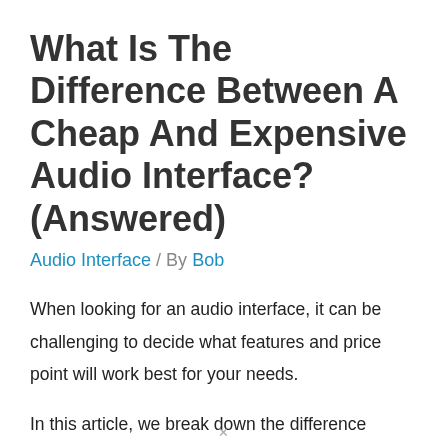What Is The Difference Between A Cheap And Expensive Audio Interface? (Answered)
Audio Interface / By Bob
When looking for an audio interface, it can be challenging to decide what features and price point will work best for your needs.
In this article, we break down the difference between expensive and cheap audio interfaces so